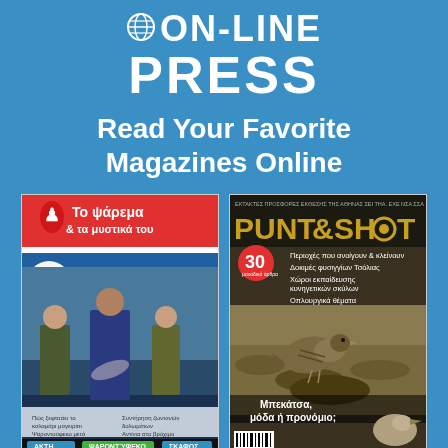[Figure (logo): ON-LINE PRESS logo with globe icon, white text on blue background]
Read Your Favorite Magazines Online
[Figure (illustration): Two magazine covers side by side: (1) 'Το ψάρεμα & τα μυστικά του' fishing magazine with people holding fish on a boat, red/white/blue cover; (2) 'PUNT & SHOOT' hunting magazine with a bird photo, dark cover]